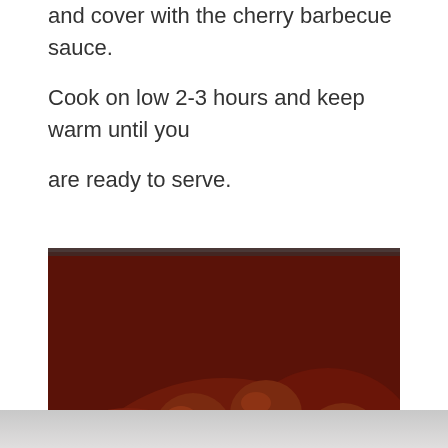and cover with the cherry barbecue sauce. Cook on low 2-3 hours and keep warm until you are ready to serve.
[Figure (photo): Close-up photo of glazed meatballs in a rich dark red barbecue sauce in a pan, with a wooden spoon scooping several meatballs.]